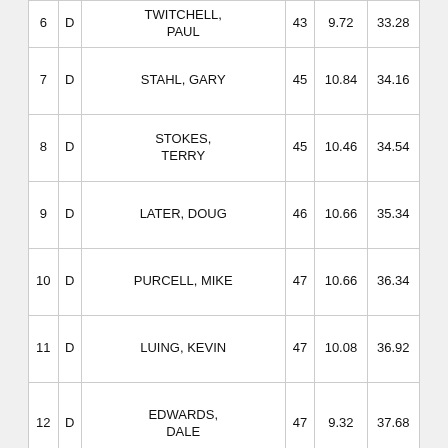| Rank | Type | Name | Score1 | Score2 | Score3 |
| --- | --- | --- | --- | --- | --- |
| 6 | D | TWITCHELL, PAUL | 43 | 9.72 | 33.28 |
| 7 | D | STAHL, GARY | 45 | 10.84 | 34.16 |
| 8 | D | STOKES, TERRY | 45 | 10.46 | 34.54 |
| 9 | D | LATER, DOUG | 46 | 10.66 | 35.34 |
| 10 | D | PURCELL, MIKE | 47 | 10.66 | 36.34 |
| 11 | D | LUING, KEVIN | 47 | 10.08 | 36.92 |
| 12 | D | EDWARDS, DALE | 47 | 9.32 | 37.68 |
|  |  |  |  |  |  |
|  |  | TWITCHELL, PAUL (Hole:  1  Score:  4) |  |  |  |
|  |  | LUING, KEVIN (Hole: 3  Score:  3) |  |  |  |
|  |  | WIBERG, SCOTT (Hole: 4  Score:  3) |  |  |  |